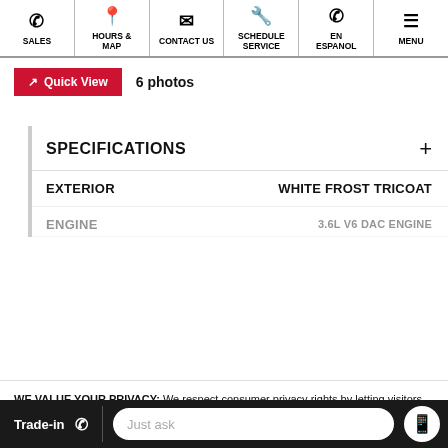SALES | HOURS & MAP | CONTACT US | SCHEDULE SERVICE | EN ESPANOL | MENU
Quick View  6 photos
SPECIFICATIONS
| FIELD | VALUE |
| --- | --- |
| EXTERIOR | WHITE FROST TRICOAT |
| ENGINE | 3.6L V6 DAC ENGINE |
WE VALUE YOUR PRIVACY: We respect consumer privacy rights by letting visitors opt out of third-party tracking cookies and honoring user-enabled global privacy controls, like the GPC signal. This site deploys cookies and similar tracking technologies to build profiles, serve ads, and personalize your experience across websites. By pressing accept, you consent to the use of such cookies. To manage your privacy rights or view the categories of personal information we collect and the purposes for which the information is used, click here.
Language: English  Powered by ComplyAuto
Trade-in  Just ask